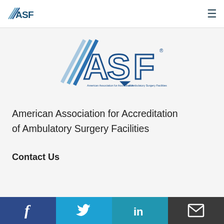[Figure (logo): ASF small logo in navigation bar — American Association for Accreditation of Ambulatory Surgery Facilities]
[Figure (logo): ASF large logo — stylized diagonal lines with large ASF letters and tagline: American Association for Accreditation of Ambulatory Surgery Facilities]
American Association for Accreditation of Ambulatory Surgery Facilities
Contact Us
[Figure (infographic): Social media footer bar with four sections: Facebook (dark blue, f icon), Twitter (light blue, bird icon), LinkedIn (teal/blue, in icon), Email (dark grey, envelope icon)]